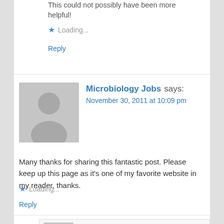This could not possibly have been more helpful!
Loading...
Reply
Microbiology Jobs says:
November 30, 2011 at 10:09 pm
Many thanks for sharing this fantastic post. Please keep up this page as it's one of my favorite website in my reader, thanks.
Loading...
Reply
Kaylin says:
December 6, 2011 at 10:51 am